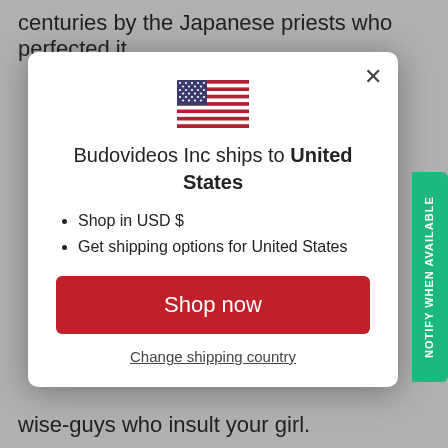centuries by the Japanese priests who perfected it.
[Figure (screenshot): Modal dialog on a website for Budovideos Inc showing US flag, shipping info, shop now button, and change shipping country link]
wise-guys who insult your girl.